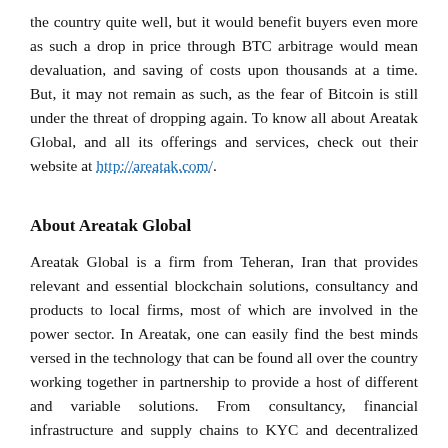the country quite well, but it would benefit buyers even more as such a drop in price through BTC arbitrage would mean devaluation, and saving of costs upon thousands at a time. But, it may not remain as such, as the fear of Bitcoin is still under the threat of dropping again. To know all about Areatak Global, and all its offerings and services, check out their website at http://areatak.com/.
About Areatak Global
Areatak Global is a firm from Teheran, Iran that provides relevant and essential blockchain solutions, consultancy and products to local firms, most of which are involved in the power sector. In Areatak, one can easily find the best minds versed in the technology that can be found all over the country working together in partnership to provide a host of different and variable solutions. From consultancy, financial infrastructure and supply chains to KYC and decentralized apps, everything is under the domain and